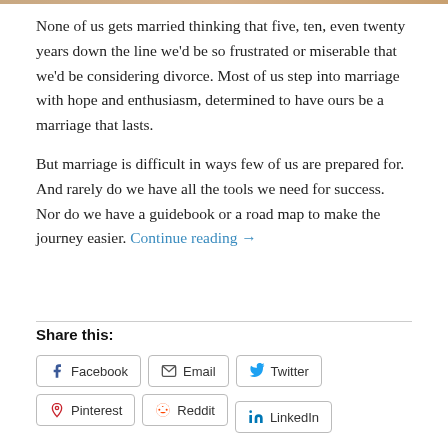[Figure (photo): Partial image strip at top of page (cropped photo, brownish/skin tones visible)]
None of us gets married thinking that five, ten, even twenty years down the line we'd be so frustrated or miserable that we'd be considering divorce. Most of us step into marriage with hope and enthusiasm, determined to have ours be a marriage that lasts.
But marriage is difficult in ways few of us are prepared for. And rarely do we have all the tools we need for success. Nor do we have a guidebook or a road map to make the journey easier. Continue reading →
Share this:
Facebook
Email
Twitter
Pinterest
Reddit
LinkedIn